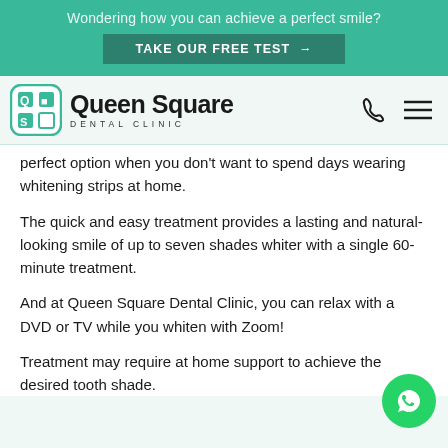Wondering how you can achieve a perfect smile?
TAKE OUR FREE TEST →
[Figure (logo): Queen Square Dental Clinic logo with teal QS icon and phone/menu icons in navigation bar]
perfect option when you don't want to spend days wearing whitening strips at home.
The quick and easy treatment provides a lasting and natural-looking smile of up to seven shades whiter with a single 60-minute treatment.
And at Queen Square Dental Clinic, you can relax with a DVD or TV while you whiten with Zoom!
Treatment may require at home support to achieve the desired tooth shade.